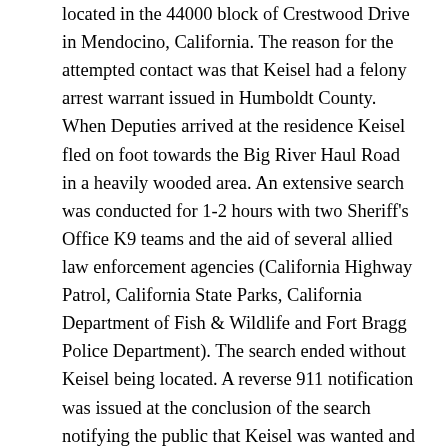located in the 44000 block of Crestwood Drive in Mendocino, California. The reason for the attempted contact was that Keisel had a felony arrest warrant issued in Humboldt County. When Deputies arrived at the residence Keisel fled on foot towards the Big River Haul Road in a heavily wooded area. An extensive search was conducted for 1-2 hours with two Sheriff's Office K9 teams and the aid of several allied law enforcement agencies (California Highway Patrol, California State Parks, California Department of Fish & Wildlife and Fort Bragg Police Department). The search ended without Keisel being located. A reverse 911 notification was issued at the conclusion of the search notifying the public that Keisel was wanted and at large in the area. Keisel is a white male adult last seen wearing black jeans, a blue jacket, a large green back pack and a purple bandana. Keisel is known to associate with a white female adult with short blond hair and having a heavy build. Deputies developed information